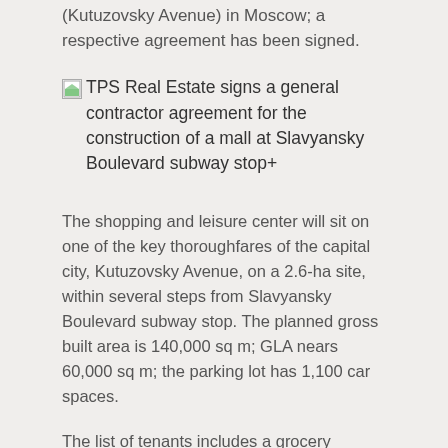(Kutuzovsky Avenue) in Moscow; a respective agreement has been signed.
[Figure (other): Broken image placeholder for TPS Real Estate signs a general contractor agreement for the construction of a mall at Slavyansky Boulevard subway stop+]
The shopping and leisure center will sit on one of the key thoroughfares of the capital city, Kutuzovsky Avenue, on a 2.6-ha site, within several steps from Slavyansky Boulevard subway stop. The planned gross built area is 140,000 sq m; GLA nears 60,000 sq m; the parking lot has 1,100 car spaces.
The list of tenants includes a grocery supermarket, electronics and home appliances store, kids stuff and athletic gear stores, movie theatre; the shopping